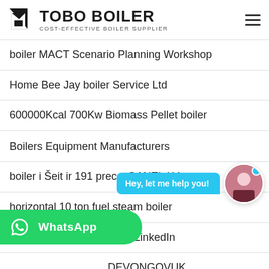[Figure (logo): TOBO BOILER logo with icon and text 'COST-EFFECTIVE BOILER SUPPLIER']
boiler MACT Scenario Planning Workshop
Home Bee Jay boiler Service Ltd
600000Kcal 700Kw Biomass Pellet boiler
Boilers Equipment Manufacturers
boiler i Šeit ir 191 precesSANEL LV
horizontal 10 ton fuel steam boiler
Boilermech Holdings Bhd LinkedIn
DEVONGOVUK
Sadiq boiler Engineering Works PakBiz
[Figure (screenshot): Chat assistant bubble saying 'Hey, let me help you!' with avatar]
[Figure (logo): WhatsApp button overlay]